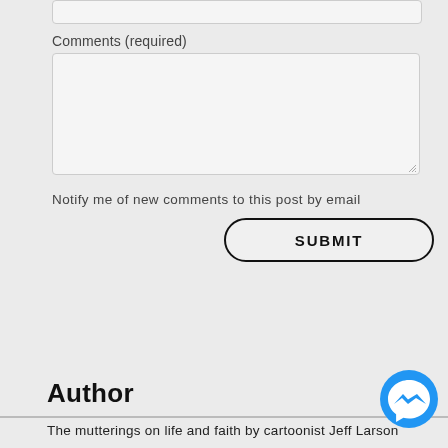Comments (required)
Notify me of new comments to this post by email
SUBMIT
Author
The mutterings on life and faith by cartoonist Jeff Larson